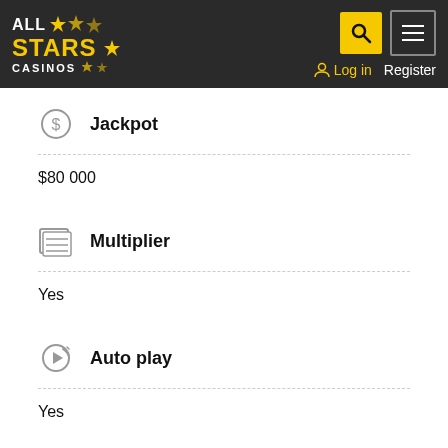[Figure (logo): All Stars Casinos logo with yellow stars on dark background]
Jackpot
$80 000
Multiplier
Yes
Auto play
Yes
Scatter symbol